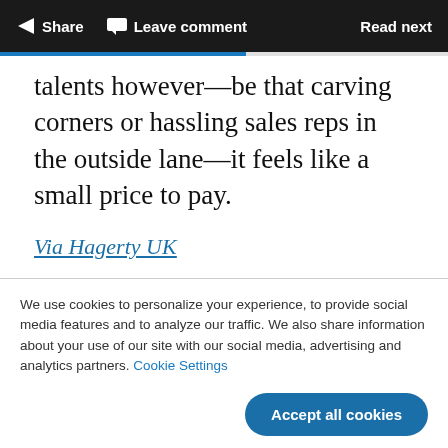Share   Leave comment   Read next
talents however—be that carving corners or hassling sales reps in the outside lane—it feels like a small price to pay.
Via Hagerty UK
We use cookies to personalize your experience, to provide social media features and to analyze our traffic. We also share information about your use of our site with our social media, advertising and analytics partners. Cookie Settings
Accept all cookies